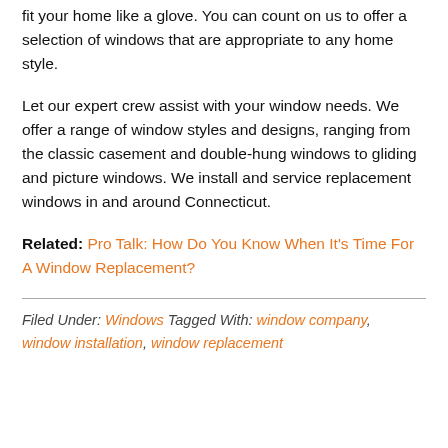fit your home like a glove. You can count on us to offer a selection of windows that are appropriate to any home style.
Let our expert crew assist with your window needs. We offer a range of window styles and designs, ranging from the classic casement and double-hung windows to gliding and picture windows. We install and service replacement windows in and around Connecticut.
Related: Pro Talk: How Do You Know When It's Time For A Window Replacement?
Filed Under: Windows Tagged With: window company, window installation, window replacement